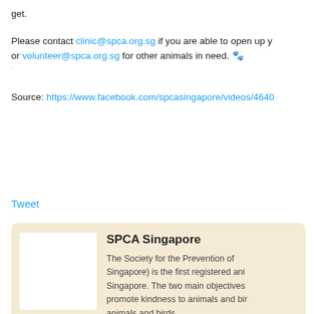get.
Please contact clinic@spca.org.sg if you are able to open up y or volunteer@spca.org.sg for other animals in need. 🐾
Source: https://www.facebook.com/spcasingapore/videos/4640
Tweet
SPCA Singapore
The Society for the Prevention of Singapore) is the first registered ani Singapore. The two main objectives promote kindness to animals and bird animals and birds.